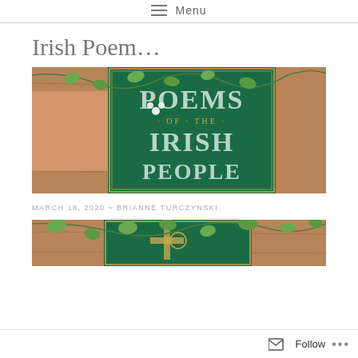Menu
Irish Poem...
[Figure (photo): A green hardcover book titled 'Poems of the Irish People' with decorative gold lettering, lying on a wooden surface with green ivy and small white flowers draped over it.]
MARCH 18, 2020 ~ BRIANNE TURCZYNSKI
[Figure (photo): Partial view of the same green hardcover book with gold decorative cross/Celtic design on the cover, with green ivy draped over it.]
Follow